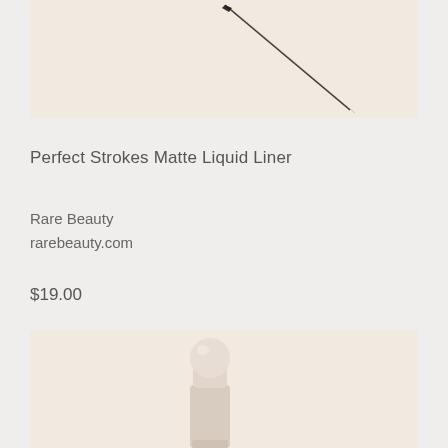[Figure (photo): Product photo of Perfect Strokes Matte Liquid Liner by Rare Beauty, showing the thin liner tip against a light beige background]
Perfect Strokes Matte Liquid Liner
Rare Beauty
rarebeauty.com
$19.00
[Figure (photo): Product photo of a Rare Beauty product with a round spherical cap on a white cylindrical container, on a light beige background]